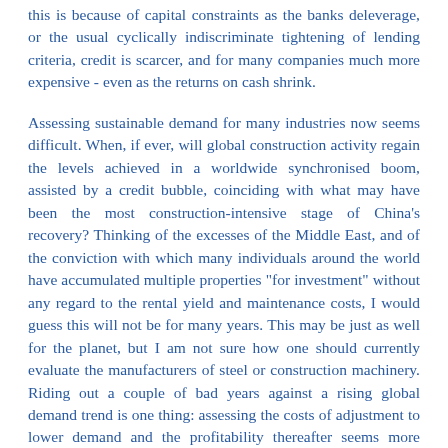this is because of capital constraints as the banks deleverage, or the usual cyclically indiscriminate tightening of lending criteria, credit is scarcer, and for many companies much more expensive - even as the returns on cash shrink.
Assessing sustainable demand for many industries now seems difficult. When, if ever, will global construction activity regain the levels achieved in a worldwide synchronised boom, assisted by a credit bubble, coinciding with what may have been the most construction-intensive stage of China's recovery? Thinking of the excesses of the Middle East, and of the conviction with which many individuals around the world have accumulated multiple properties "for investment" without any regard to the rental yield and maintenance costs, I would guess this will not be for many years. This may be just as well for the planet, but I am not sure how one should currently evaluate the manufacturers of steel or construction machinery. Riding out a couple of bad years against a rising global demand trend is one thing: assessing the costs of adjustment to lower demand and the profitability thereafter seems more difficult. Of more immediate interest to us are those Japanese companies with world-leading technologies and reasonable 'normal' returns, for which valuations are cyclically depressed but